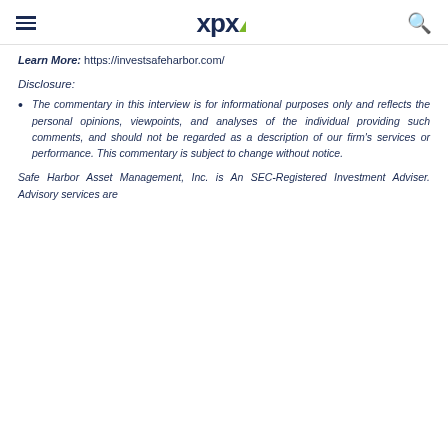xpx
Learn More: https://investsafeharbor.com/
Disclosure:
The commentary in this interview is for informational purposes only and reflects the personal opinions, viewpoints, and analyses of the individual providing such comments, and should not be regarded as a description of our firm's services or performance. This commentary is subject to change without notice.
Safe Harbor Asset Management, Inc. is An SEC-Registered Investment Adviser. Advisory services are